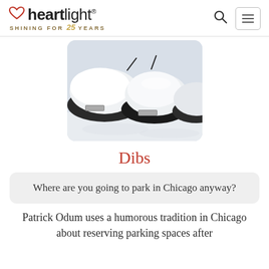heartlight® SHINING FOR 25 YEARS
[Figure (photo): Snow-covered cars packed together in a parking lot, viewed from above-front angle, heavy snow blanketing roofs and hoods]
Dibs
Where are you going to park in Chicago anyway?
Patrick Odum uses a humorous tradition in Chicago about reserving parking spaces after